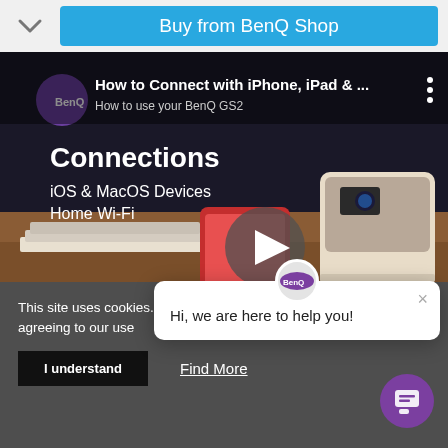Buy from BenQ Shop
[Figure (screenshot): YouTube video thumbnail showing BenQ GS2 projector with title 'How to Connect with iPhone, iPad & ...' and text overlay: Connections, iOS & MacOS Devices, Home Wi-Fi. A play button is visible in the center.]
This site uses cookies. By c... you are agreeing to our use... manage preferences.
Hi, we are here to help you!